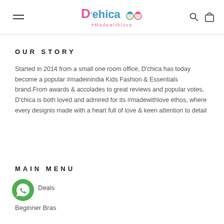D'chica #Madewithlove
OUR STORY
Started in 2014 from a small one room office, D'chica has today become a popular #madeinindia Kids Fashion & Essentials brand.From awards & accolades to great reviews and popular votes, D'chica is both loved and admired for its #madewithlove ethos, where every designis made with a heart full of love & keen attention to detail
MAIN MENU
Deals
Beginner Bras